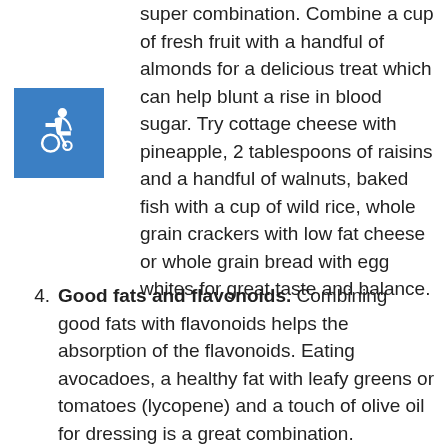[Figure (illustration): Blue square icon with white wheelchair accessibility symbol]
super combination. Combine a cup of fresh fruit with a handful of almonds for a delicious treat which can help blunt a rise in blood sugar. Try cottage cheese with pineapple, 2 tablespoons of raisins and a handful of walnuts, baked fish with a cup of wild rice, whole grain crackers with low fat cheese or whole grain bread with egg whites for great taste and balance.
4. Good fats and flavonoids. Combining good fats with flavonoids helps the absorption of the flavonoids. Eating avocadoes, a healthy fat with leafy greens or tomatoes (lycopene) and a touch of olive oil for dressing is a great combination. Remember portion size with healthy fats since they are high in calories. Combine raw vegetables like tomatoes,